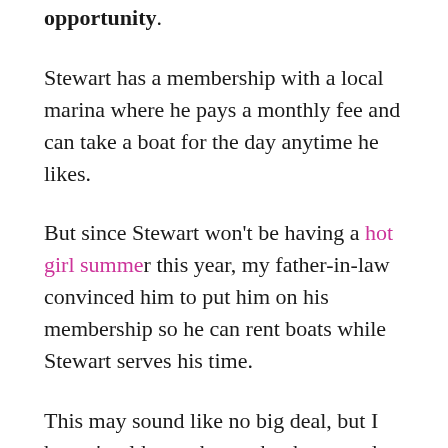opportunity.
Stewart has a membership with a local marina where he pays a monthly fee and can take a boat for the day anytime he likes.
But since Stewart won't be having a hot girl summer this year, my father-in-law convinced him to put him on his membership so he can rent boats while Stewart serves his time.
This may sound like no big deal, but I haven't told you about what happened to the last thing my FIL played with that wasn't his.
Just before he moved in with us, he was living in a